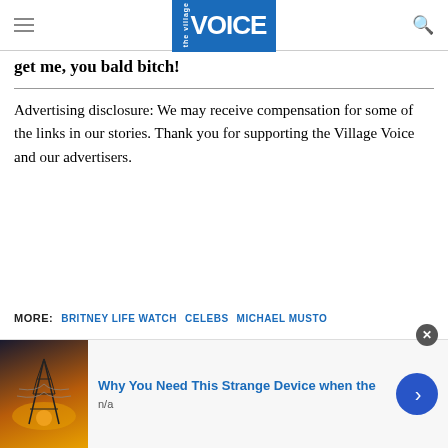the Village VOICE
get me, you bald bitch!
Advertising disclosure: We may receive compensation for some of the links in our stories. Thank you for supporting the Village Voice and our advertisers.
MORE: BRITNEY LIFE WATCH   CELEBS   MICHAEL MUSTO
[Figure (screenshot): Advertisement banner: 'Why You Need This Strange Device when the' with image of electrical tower at sunset, source 'n/a', with close button and arrow navigation button.]